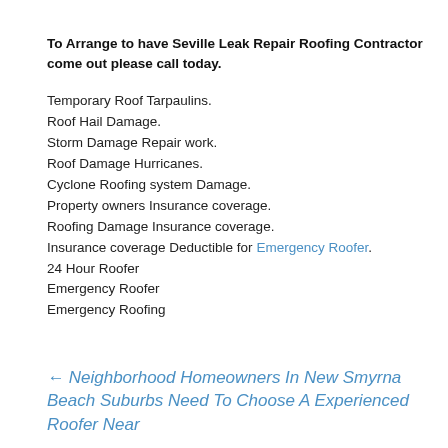To Arrange to have Seville Leak Repair Roofing Contractor come out please call today.
Temporary Roof Tarpaulins.
Roof Hail Damage.
Storm Damage Repair work.
Roof Damage Hurricanes.
Cyclone Roofing system Damage.
Property owners Insurance coverage.
Roofing Damage Insurance coverage.
Insurance coverage Deductible for Emergency Roofer.
24 Hour Roofer
Emergency Roofer
Emergency Roofing
← Neighborhood Homeowners In New Smyrna Beach Suburbs Need To Choose A Experienced Roofer Near